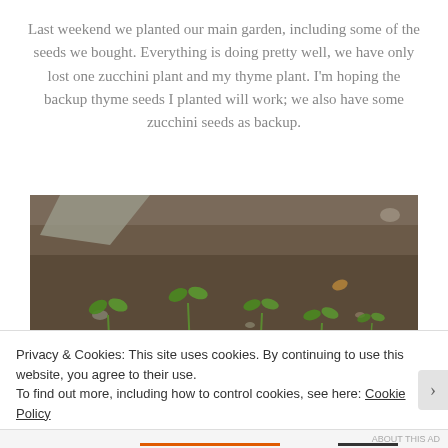Last weekend we planted our main garden, including some of the seeds we bought. Everything is doing pretty well, we have only lost one zucchini plant and my thyme plant. I'm hoping the backup thyme seeds I planted will work; we also have some zucchini seeds as backup.
[Figure (photo): A garden bed with small seedlings sprouting from dark soil, with rocks and a stone path visible in the background.]
Privacy & Cookies: This site uses cookies. By continuing to use this website, you agree to their use.
To find out more, including how to control cookies, see here: Cookie Policy
Close and accept